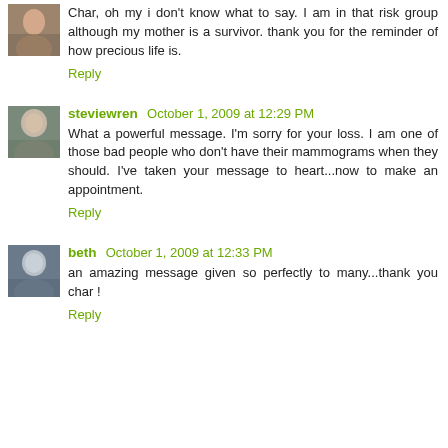Char, oh my i don't know what to say. I am in that risk group although my mother is a survivor. thank you for the reminder of how precious life is.
Reply
steviewren  October 1, 2009 at 12:29 PM
What a powerful message. I'm sorry for your loss. I am one of those bad people who don't have their mammograms when they should. I've taken your message to heart...now to make an appointment.
Reply
beth  October 1, 2009 at 12:33 PM
an amazing message given so perfectly to many...thank you char !
Reply